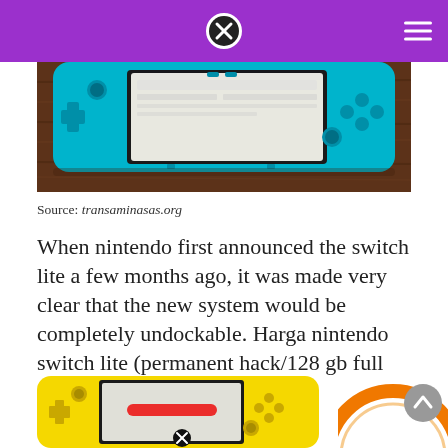[Figure (photo): Top-down photo of a turquoise/cyan Nintendo Switch Lite placed on a dark wooden table surface]
Source: transaminasas.org
When nintendo first announced the switch lite a few months ago, it was made very clear that the new system would be completely undockable. Harga nintendo switch lite (permanent hack/128 gb full games) original new.
[Figure (photo): Yellow Nintendo Switch Lite gaming console, partial bottom crop view]